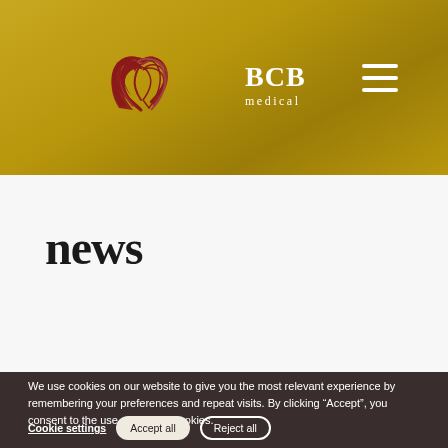[Figure (logo): BCB Medical logo with stylized bird/heart symbol in dark red and white text 'BCB medical' on gold background]
[Figure (other): Hamburger menu icon (three horizontal lines) in white on gold background]
news
We use cookies on our website to give you the most relevant experience by remembering your preferences and repeat visits. By clicking “Accept”, you consent to the use of ALL the cookies.
Cookie settings
Accept all
Reject all